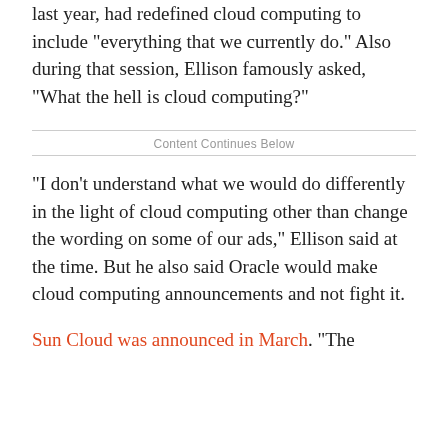last year, had redefined cloud computing to include "everything that we currently do." Also during that session, Ellison famously asked, "What the hell is cloud computing?"
Content Continues Below
"I don't understand what we would do differently in the light of cloud computing other than change the wording on some of our ads," Ellison said at the time. But he also said Oracle would make cloud computing announcements and not fight it.
Sun Cloud was announced in March. "The